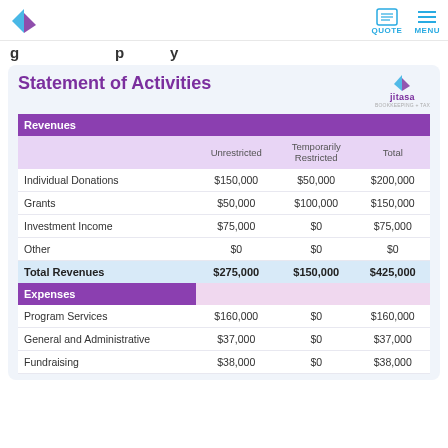Statement of Activities
| Revenues | Unrestricted | Temporarily Restricted | Total |
| --- | --- | --- | --- |
| Individual Donations | $150,000 | $50,000 | $200,000 |
| Grants | $50,000 | $100,000 | $150,000 |
| Investment Income | $75,000 | $0 | $75,000 |
| Other | $0 | $0 | $0 |
| Total Revenues | $275,000 | $150,000 | $425,000 |
| Expenses |  |  |  |
| Program Services | $160,000 | $0 | $160,000 |
| General and Administrative | $37,000 | $0 | $37,000 |
| Fundraising | $38,000 | $0 | $38,000 |